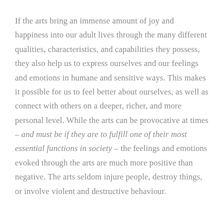If the arts bring an immense amount of joy and happiness into our adult lives through the many different qualities, characteristics, and capabilities they possess, they also help us to express ourselves and our feelings and emotions in humane and sensitive ways. This makes it possible for us to feel better about ourselves, as well as connect with others on a deeper, richer, and more personal level. While the arts can be provocative at times – and must be if they are to fulfill one of their most essential functions in society – the feelings and emotions evoked through the arts are much more positive than negative. The arts seldom injure people, destroy things, or involve violent and destructive behaviour.